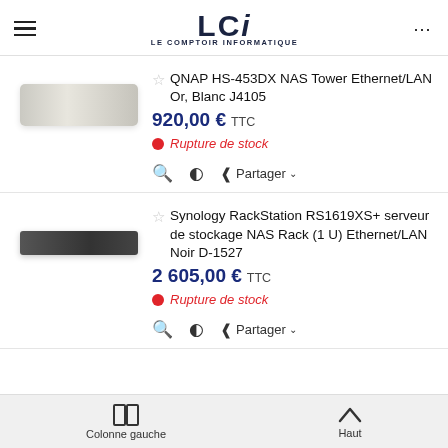LCI — LE COMPTOIR INFORMATIQUE
QNAP HS-453DX NAS Tower Ethernet/LAN Or, Blanc J4105
920,00 € TTC
Rupture de stock
Synology RackStation RS1619XS+ serveur de stockage NAS Rack (1 U) Ethernet/LAN Noir D-1527
2 605,00 € TTC
Rupture de stock
Colonne gauche    Haut